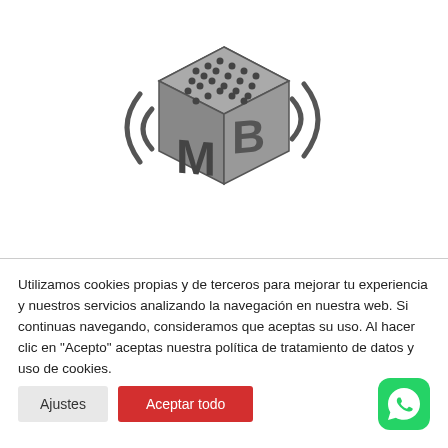[Figure (logo): MB logo: a 3D cube with dots on top face and letters M and B on the front faces, with sound wave lines on either side, in dark gray color]
Utilizamos cookies propias y de terceros para mejorar tu experiencia y nuestros servicios analizando la navegación en nuestra web. Si continuas navegando, consideramos que aceptas su uso. Al hacer clic en "Acepto" aceptas nuestra política de tratamiento de datos y uso de cookies.
Ajustes
Aceptar todo
[Figure (logo): WhatsApp logo: green rounded square with white phone/speech bubble icon]